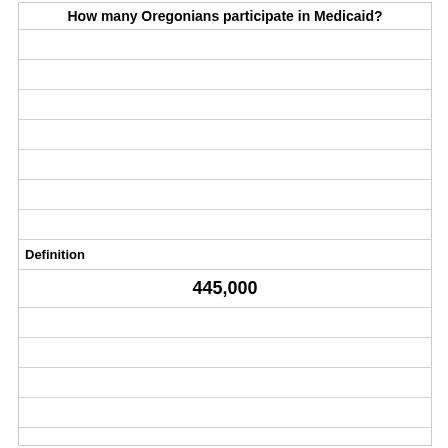How many Oregonians participate in Medicaid?
Definition
445,000
Term